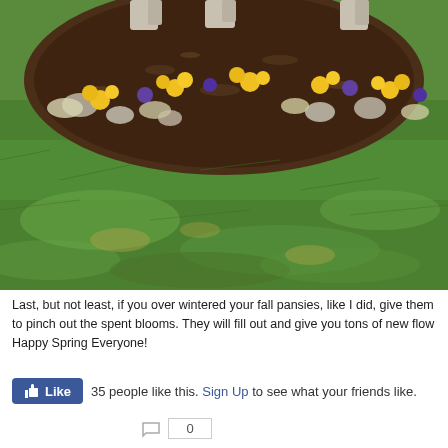[Figure (photo): Garden photo showing a circular flower bed with yellow and purple pansies and mulch, surrounded by a lush green lawn. Stone statue feet visible at the top.]
Last, but not least, if you over wintered your fall pansies, like I did, give them to pinch out the spent blooms. They will fill out and give you tons of new flow Happy Spring Everyone!
35 people like this. Sign Up to see what your friends like.
0